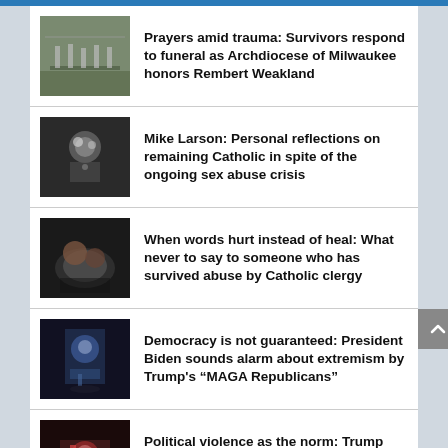Prayers amid trauma: Survivors respond to funeral as Archdiocese of Milwaukee honors Rembert Weakland
Mike Larson: Personal reflections on remaining Catholic in spite of the ongoing sex abuse crisis
When words hurt instead of heal: What never to say to someone who has survived abuse by Catholic clergy
Democracy is not guaranteed: President Biden sounds alarm about extremism by Trump's “MAGA Republicans”
Political violence as the norm: Trump signals plans to pardon January 6 insurrectionists if re-elected in 2024